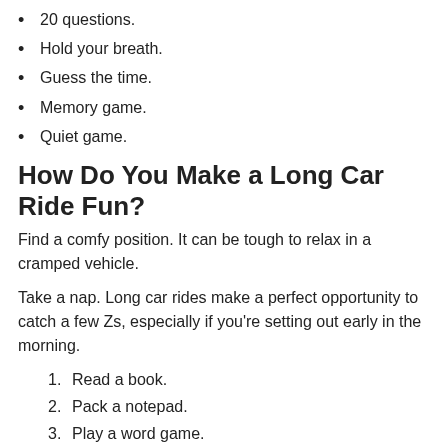20 questions.
Hold your breath.
Guess the time.
Memory game.
Quiet game.
How Do You Make a Long Car Ride Fun?
Find a comfy position. It can be tough to relax in a cramped vehicle.
Take a nap. Long car rides make a perfect opportunity to catch a few Zs, especially if you're setting out early in the morning.
Read a book.
Pack a notepad.
Play a word game.
Talk to each other.
Which Racing Game is Most Realistic?
Gran Turismo games